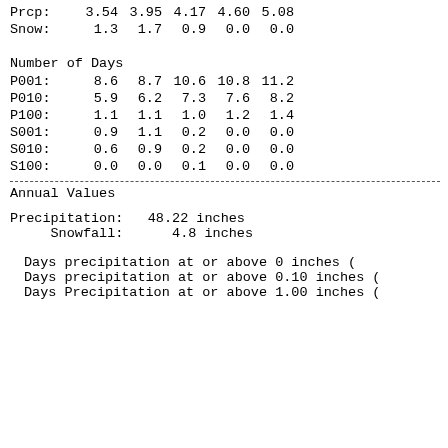| NORMAL | Jan. | Feb. | Mar. | Apr. | May |
| --- | --- | --- | --- | --- | --- |
| Prcp: | 3.54 | 3.95 | 4.17 | 4.60 | 5.08 |
| Snow: | 1.3 | 1.7 | 0.9 | 0.0 | 0.0 |
Number of Days
| P001: | 8.6 | 8.7 | 10.6 | 10.8 | 11.2 |
| P010: | 5.9 | 6.2 | 7.3 | 7.6 | 8.2 |
| P100: | 1.1 | 1.1 | 1.0 | 1.2 | 1.4 |
| S001: | 0.9 | 1.1 | 0.2 | 0.0 | 0.0 |
| S010: | 0.6 | 0.9 | 0.2 | 0.0 | 0.0 |
| S100: | 0.0 | 0.0 | 0.1 | 0.0 | 0.0 |
Annual Values
Precipitation:   48.22 inches
     Snowfall:      4.8 inches
Days precipitation at or above 0 inches (
Days precipitation at or above 0.10 inches (
Days Precipitation at or above 1.00 inches (